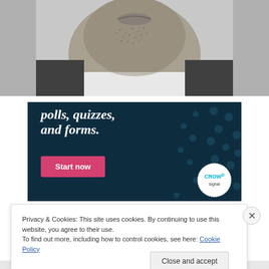[Figure (photo): Black and white close-up photo of lower face of a man with stubble, wearing a white shirt]
[Figure (infographic): Dark teal advertisement banner with white bold italic text reading 'polls, quizzes, and forms.' with a pink 'Start now' button and a Crowd logo badge in the bottom right]
Privacy & Cookies: This site uses cookies. By continuing to use this website, you agree to their use.
To find out more, including how to control cookies, see here: Cookie Policy
Close and accept